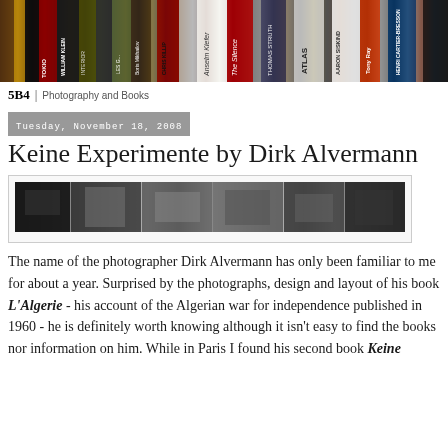[Figure (photo): A row of photography book spines arranged on a shelf, including titles such as Tokio, William Klein, Anselm Kiefer, The Silence, Atlas, Aaron Siskind, Henri Cartier-Bresson, Tony Ray, and others.]
5B4 | Photography and Books
Tuesday, November 18, 2008
Keine Experimente by Dirk Alvermann
[Figure (photo): A strip of black and white photographs showing scenes from Dirk Alvermann's book, displayed in a bordered container.]
The name of the photographer Dirk Alvermann has only been familiar to me for about a year. Surprised by the photographs, design and layout of his book L'Algerie - his account of the Algerian war for independence published in 1960 - he is definitely worth knowing although it isn't easy to find the books nor information on him. While in Paris I found his second book Keine